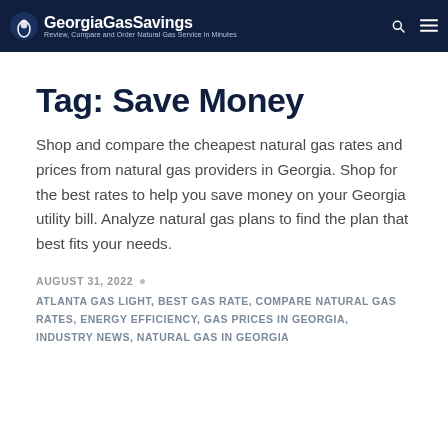GeorgiaGasSavings — Review, Compare and Order Natural Gas Service in Minutes
Tag: Save Money
Shop and compare the cheapest natural gas rates and prices from natural gas providers in Georgia. Shop for the best rates to help you save money on your Georgia utility bill. Analyze natural gas plans to find the plan that best fits your needs.
AUGUST 31, 2022
ATLANTA GAS LIGHT, BEST GAS RATE, COMPARE NATURAL GAS RATES, ENERGY EFFICIENCY, GAS PRICES IN GEORGIA, INDUSTRY NEWS, NATURAL GAS IN GEORGIA